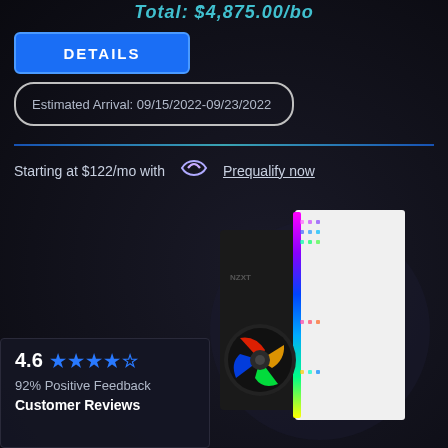Total: $4,875.00/bo
DETAILS
Estimated Arrival: 09/15/2022-09/23/2022
Starting at $122/mo with Affirm Prequalify now
[Figure (photo): Gaming PC tower with white panel and RGB lighting strips on the side, with a fan visible on the front.]
4.6
92% Positive Feedback
Customer Reviews